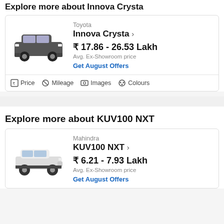Explore more about Innova Crysta
[Figure (photo): Toyota Innova Crysta dark grey SUV car image]
Toyota
Innova Crysta >
₹ 17.86 - 26.53 Lakh
Avg. Ex-Showroom price
Get August Offers
Price   Mileage   Images   Colours
Explore more about KUV100 NXT
[Figure (photo): Mahindra KUV100 NXT white compact SUV car image]
Mahindra
KUV100 NXT >
₹ 6.21 - 7.93 Lakh
Avg. Ex-Showroom price
Get August Offers